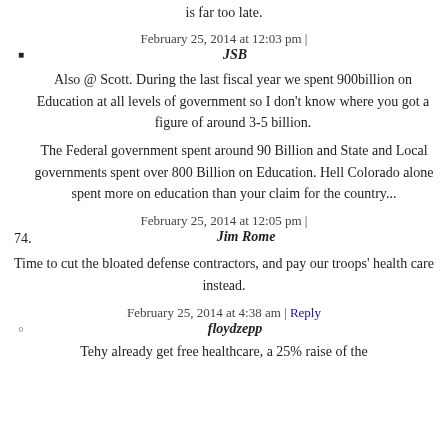is far too late.
February 25, 2014 at 12:03 pm |
JSB
Also @ Scott. During the last fiscal year we spent 900billion on Education at all levels of government so I don't know where you got a figure of around 3-5 billion.
The Federal government spent around 90 Billion and State and Local governments spent over 800 Billion on Education. Hell Colorado alone spent more on education than your claim for the country...
February 25, 2014 at 12:05 pm |
Jim Rome
Time to cut the bloated defense contractors, and pay our troops' health care instead.
February 25, 2014 at 4:38 am | Reply
floydzepp
Tehy already get free healthcare, a 25% raise of the